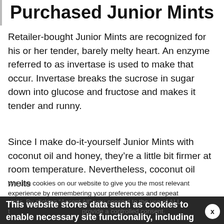Purchased Junior Mints
Retailer-bought Junior Mints are recognized for his or her tender, barely melty heart. An enzyme referred to as invertase is used to make that occur. Invertase breaks the sucrose in sugar down into glucose and fructose and makes it tender and runny.
Since I make do-it-yourself Junior Mints with coconut oil and honey, they’re a little bit firmer at room temperature. Nevertheless, coconut oil melts
We use cookies on our website to give you the most relevant experience by remembering your preferences and repeat visits. By clicking “Accept All”, you consent to the use of ALL the cookies. provide a controlled consent.
This website stores data such as cookies to enable necessary site functionality, including analytics, targeting, and personalization. By remaining on this website you indicate your consent Cookie Policy